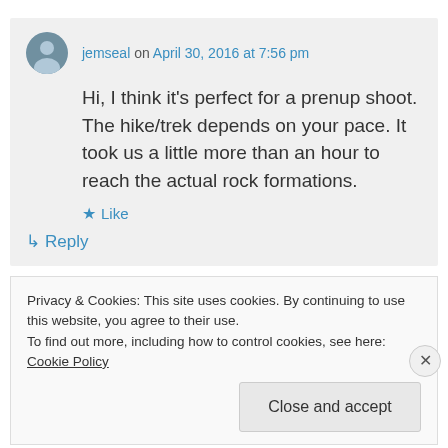jemseal on April 30, 2016 at 7:56 pm
Hi, I think it's perfect for a prenup shoot. The hike/trek depends on your pace. It took us a little more than an hour to reach the actual rock formations.
★ Like
↳ Reply
Privacy & Cookies: This site uses cookies. By continuing to use this website, you agree to their use. To find out more, including how to control cookies, see here: Cookie Policy
Close and accept